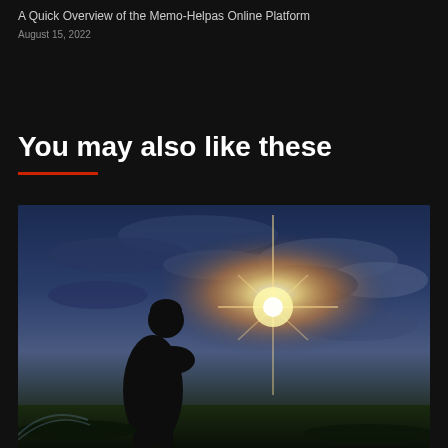A Quick Overview of the Memo-Helpas Online Platform
August 15, 2022
You may also like these
[Figure (photo): Silhouette of a person standing in an open field with hands clasped in prayer, against a dramatic sunset sky with bright sunrays breaking through clouds.]